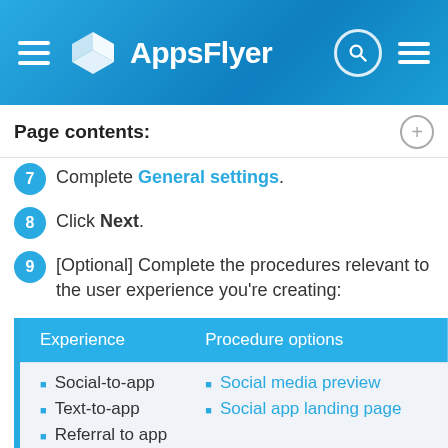[Figure (screenshot): AppsFlyer navigation header with hamburger menu, AppsFlyer logo, search icon, and hamburger menu on the right, on a blue gradient background]
Page contents:
Complete General settings.
Click Next.
[Optional] Complete the procedures relevant to the user experience you're creating:
| Experience | Procedure options |
| --- | --- |
| Social-to-app
Text-to-app
Referral to app
Custom link | Social media preview
Social app landing page |
| Email-to-app | If you're using an ESP, follow th… |